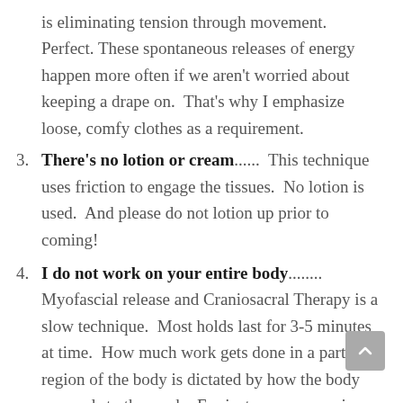is eliminating tension through movement.  Perfect.  These spontaneous releases of energy happen more often if we aren't worried about keeping a drape on.  That's why I emphasize loose, comfy clothes as a requirement.
3. There's no lotion or cream.......  This technique uses friction to engage the tissues.  No lotion is used.  And please do not lotion up prior to coming!
4. I do not work on your entire body......... Myofascial release and Craniosacral Therapy is a slow technique.  Most holds last for 3-5 minutes at time.  How much work gets done in a particular region of the body is dictated by how the body responds to the work.  For instance, your pain may be mostly in your low back.  When I sink into your